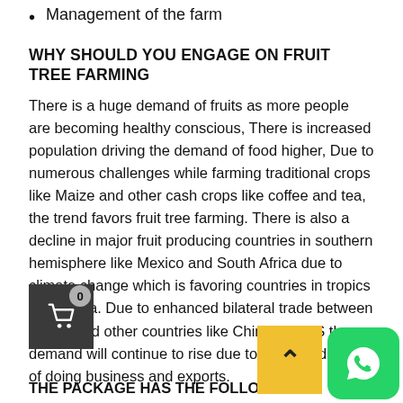Management of the farm
WHY SHOULD YOU ENGAGE ON FRUIT TREE FARMING
There is a huge demand of fruits as more people are becoming healthy conscious, There is increased population driving the demand of food higher, Due to numerous challenges while farming traditional crops like Maize and other cash crops like coffee and tea, the trend favors fruit tree farming. There is also a decline in major fruit producing countries in southern hemisphere like Mexico and South Africa due to climate change which is favoring countries in tropics like Kenya. Due to enhanced bilateral trade between Kenya and other countries like China and US the demand will continue to rise due to enhanced ease of doing business and exports.
THE PACKAGE HAS THE FOLLOWING.